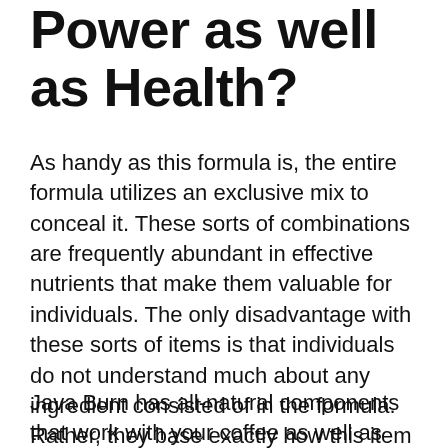Power as well as Health?
As handy as this formula is, the entire formula utilizes an exclusive mix to conceal it. These sorts of combinations are frequently abundant in effective nutrients that make them valuable for individuals. The only disadvantage with these sorts of items is that individuals do not understand much about any ingredient consisted of in the formula. Rather, they base exactly how this item works on the thought advantages of each active ingredient's function.
Java Burn has all-natural components that work with your coffee as well as assistance